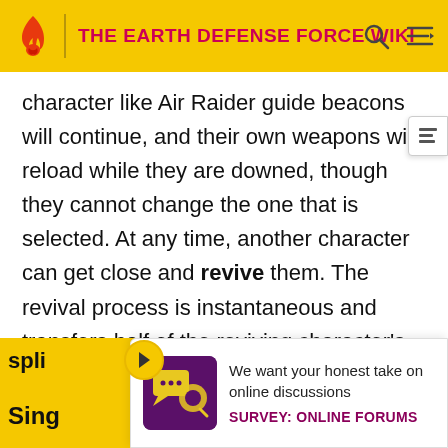THE EARTH DEFENSE FORCE WIKI
character like Air Raider guide beacons will continue, and their own weapons will reload while they are downed, though they cannot change the one that is selected. At any time, another character can get close and revive them. The revival process is instantaneous and transfers half of the reviving character's remaining health to the downed one: this occurs even if half of the reviving character's health is more than the downed character has in total. It cannot be done if the reviving character is at critical (red) health.
There [partially obscured] ...spli[t] ...
Sing[le player section - partially obscured]
[Figure (infographic): Survey promotional banner showing a stylized graphic, text 'We want your honest take on online discussions' and label 'SURVEY: ONLINE FORUMS']